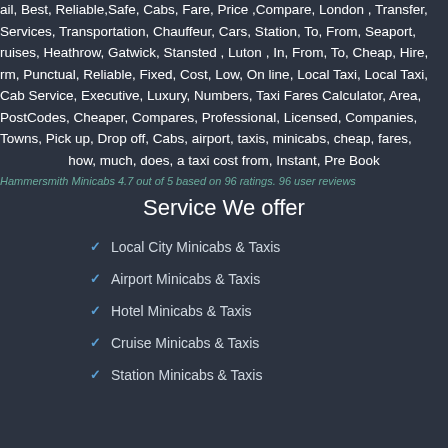ail, Best, Reliable,Safe, Cabs, Fare, Price ,Compare, London , Transfer, Services, Transportation, Chauffeur, Cars, Station, To, From, Seaport, ruises, Heathrow, Gatwick, Stansted , Luton , In, From, To, Cheap, Hire, rm, Punctual, Reliable, Fixed, Cost, Low, On line, Local Taxi, Local Taxi, Cab Service, Executive, Luxury, Numbers, Taxi Fares Calculator, Area, PostCodes, Cheaper, Compares, Professional, Licensed, Companies, Towns, Pick up, Drop off, Cabs, airport, taxis, minicabs, cheap, fares, how, much, does, a taxi cost from, Instant, Pre Book
Hammersmith Minicabs 4.7 out of 5 based on 96 ratings. 96 user reviews
Service We offer
Local City Minicabs & Taxis
Airport Minicabs & Taxis
Hotel Minicabs & Taxis
Cruise Minicabs & Taxis
Station Minicabs & Taxis